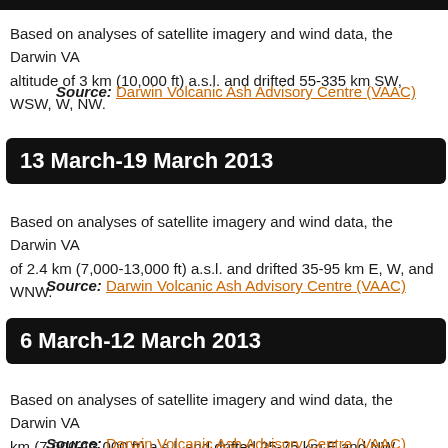Based on analyses of satellite imagery and wind data, the Darwin VA...altitude of 3 km (10,000 ft) a.s.l. and drifted 55-335 km SW, WSW, W, NW...
Source: Darwin Volcanic Ash Advisory Centre (VAAC)
13 March-19 March 2013
Based on analyses of satellite imagery and wind data, the Darwin VA...of 2.4 km (7,000-13,000 ft) a.s.l. and drifted 35-95 km E, W, and WNW.
Source: Darwin Volcanic Ash Advisory Centre (VAAC)
6 March-12 March 2013
Based on analyses of satellite imagery and wind data, the Darwin VA...km (7,000-13,000 ft) a.s.l. and drifted 25-75 km E and NW.
Source: Darwin Volcanic Ash Advisory Centre (VAAC)